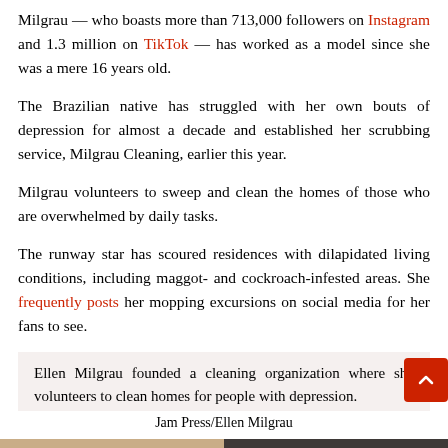Milgrau — who boasts more than 713,000 followers on Instagram and 1.3 million on TikTok — has worked as a model since she was a mere 16 years old.
The Brazilian native has struggled with her own bouts of depression for almost a decade and established her scrubbing service, Milgrau Cleaning, earlier this year.
Milgrau volunteers to sweep and clean the homes of those who are overwhelmed by daily tasks.
The runway star has scoured residences with dilapidated living conditions, including maggot- and cockroach-infested areas. She frequently posts her mopping excursions on social media for her fans to see.
Ellen Milgrau founded a cleaning organization where she volunteers to clean homes for people with depression.
Jam Press/Ellen Milgrau
[Figure (photo): Bottom portion of a photo showing a room interior, partially visible]